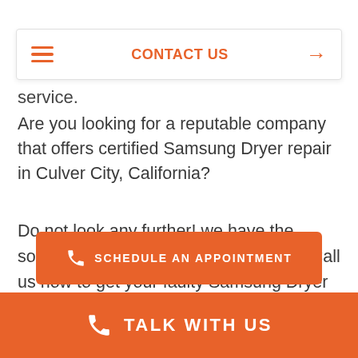CONTACT US
service.
Are you looking for a reputable company that offers certified Samsung Dryer repair in Culver City, California?
Do not look any further! we have the solution for Samsung Dryer problems! Call us now to get your faulty Samsung Dryer appliance fixed. Certainly, we guarantee that your Samsung Dryer will work correctly. In addition, efficiently again.
SCHEDULE AN APPOINTMENT
TALK WITH US